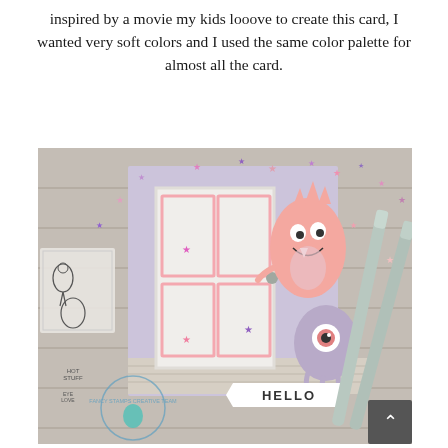inspired by a movie my kids looove to create this card, I wanted very soft colors and I used the same color palette for almost all the card.
[Figure (photo): A craft card making scene on a wooden table. Center of image shows a handmade greeting card with a white door die-cut with pink frame accents and small star embellishments, a pink monster peeking from behind the door, a purple/grey ghost-like monster beside it, and a 'HELLO' banner at the bottom. Scattered small star confetti in pink and purple are around the card. On the left side are stamp sets with monster characters. On the right are mint green marker pens. A circular 'Fancy Stamps Creative Team' watermark logo is in the lower left. A dark grey scroll-up arrow button is at the bottom right corner.]